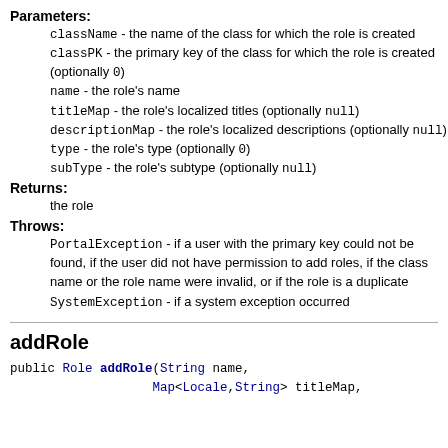Parameters:
className - the name of the class for which the role is created
classPK - the primary key of the class for which the role is created (optionally 0)
name - the role's name
titleMap - the role's localized titles (optionally null)
descriptionMap - the role's localized descriptions (optionally null)
type - the role's type (optionally 0)
subType - the role's subtype (optionally null)
Returns:
the role
Throws:
PortalException - if a user with the primary key could not be found, if the user did not have permission to add roles, if the class name or the role name were invalid, or if the role is a duplicate
SystemException - if a system exception occurred
addRole
public Role addRole(String name, Map<Locale,String> titleMap,